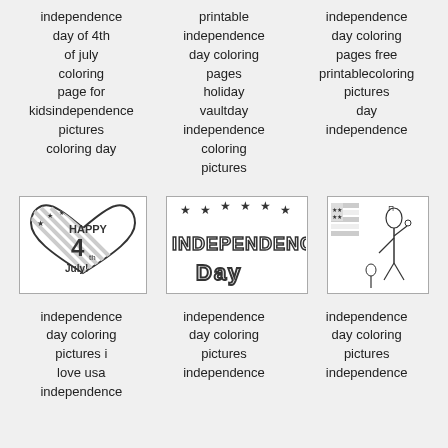independence day of 4th of july coloring page for kidsindependence pictures coloring day
printable independence day coloring pages holiday vaultday independence coloring pictures
independence day coloring pages free printablecoloring pictures day independence
[Figure (illustration): Coloring page with heart shape and 'Happy 4th July!' text with stars and stripes design]
[Figure (illustration): Coloring page with 'Independence Day' bold lettering and stars]
[Figure (illustration): Coloring page with Statue of Liberty and American flag]
independence day coloring pictures i love usa independence
independence day coloring pictures independence
independence day coloring pictures independence